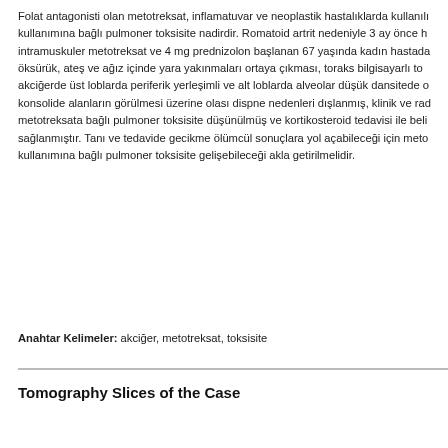Folat antagonisti olan metotreksat, inflamatuvar ve neoplastik hastalıklarda kullanılı kullanımına bağlı pulmoner toksisite nadirdir. Romatoid artrit nedeniyle 3 ay önce h intramuskuler metotreksat ve 4 mg prednizolon başlanan 67 yaşında kadın hastada öksürük, ateş ve ağız içinde yara yakınmaları ortaya çıkması, toraks bilgisayarlı to akciğerde üst loblarda periferik yerleşimli ve alt loblarda alveolar düşük dansitede o konsolide alanların görülmesi üzerine olası dispne nedenleri dışlanmış, klinik ve rad metotreksata bağlı pulmoner toksisite düşünülmüş ve kortikosteroid tedavisi ile beli sağlanmıştır. Tanı ve tedavide gecikme ölümcül sonuçlara yol açabileceği için met kullanımına bağlı pulmoner toksisite gelişebileceği akla getirilmelidir.
Anahtar Kelimeler: akciğer, metotreksat, toksisite
Tomography Slices of the Case